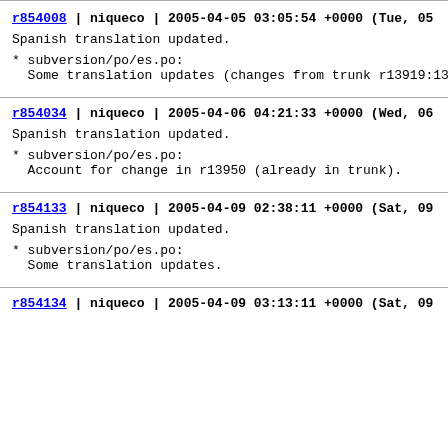r854008 | niqueco | 2005-04-05 03:05:54 +0000 (Tue, 05 Ap
Spanish translation updated.
* subversion/po/es.po:
  Some translation updates (changes from trunk r13919:139
r854034 | niqueco | 2005-04-06 04:21:33 +0000 (Wed, 06 Ap
Spanish translation updated.
* subversion/po/es.po:
  Account for change in r13950 (already in trunk).
r854133 | niqueco | 2005-04-09 02:38:11 +0000 (Sat, 09 Ap
Spanish translation updated.
* subversion/po/es.po:
  Some translation updates.
r854134 | niqueco | 2005-04-09 03:13:11 +0000 (Sat, 09 Ap